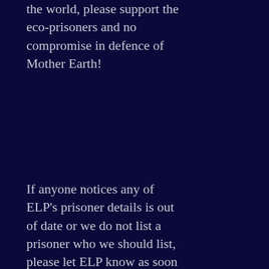the world, please support the eco-prisoners and no compromise in defence of Mother Earth!
If anyone notices any of ELP's prisoner details is out of date or we do not list a prisoner who we should list, please let ELP know as soon as possible. ELP is run by a small group of volunteers and although we try to ensure our lists are accurate, we admit we do make